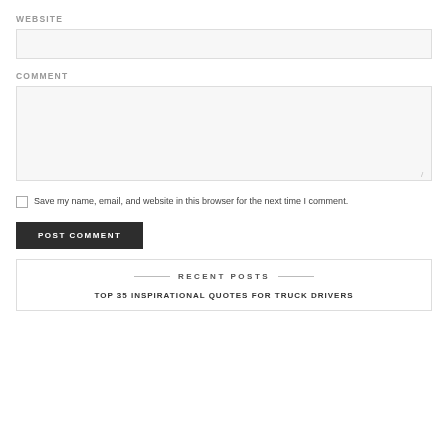WEBSITE
[Figure (other): Website input field (empty text box)]
COMMENT
[Figure (other): Comment textarea (empty, resizable)]
Save my name, email, and website in this browser for the next time I comment.
POST COMMENT
RECENT POSTS
TOP 35 INSPIRATIONAL QUOTES FOR TRUCK DRIVERS